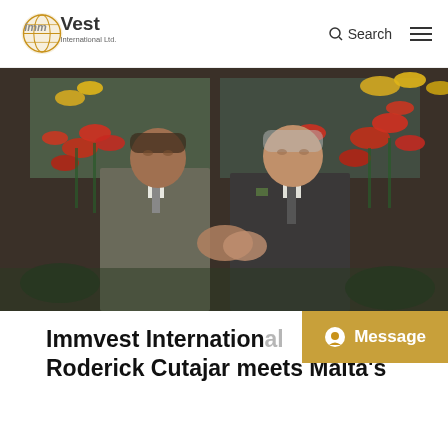[Figure (logo): ImmVest International Ltd. logo — stylized globe in gold with 'imm' text and 'Vest International Ltd.' wordmark]
[Figure (photo): Two men in suits shaking hands in a restaurant or hotel lobby setting with red and yellow lily flower arrangements in the background]
Immvest International Roderick Cutajar meets Malta's